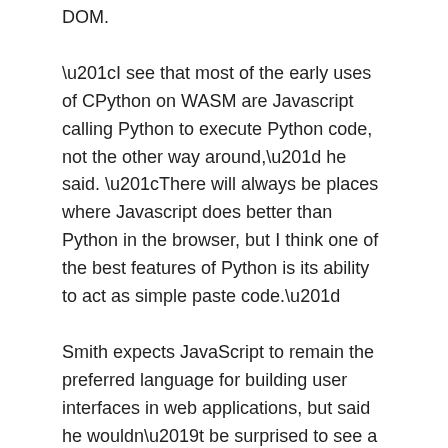DOM.
“I see that most of the early uses of CPython on WASM are Javascript calling Python to execute Python code, not the other way around,” he said. “There will always be places where Javascript does better than Python in the browser, but I think one of the best features of Python is its ability to act as simple paste code.”
Smith expects JavaScript to remain the preferred language for building user interfaces in web applications, but said he wouldn’t be surprised to see a Python-based front-end framework emerge that tries to take advantage of the CPython connection. on WASM.
He also said that CPython on WASM could be useful for the development of cross-platform web applications, although he acknowledges that work is already underway to bring CPython support to iOS and Android and that there is more. ‘other cross-platform projects like BeeWare.